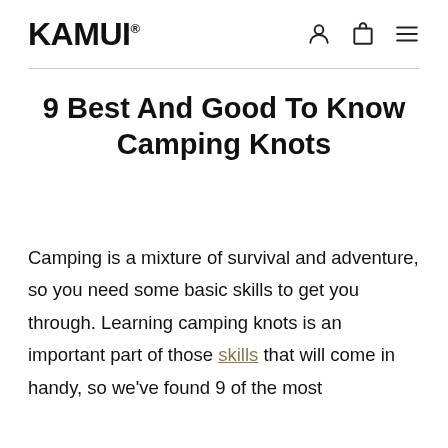KAMUI®
9 Best And Good To Know Camping Knots
Camping is a mixture of survival and adventure, so you need some basic skills to get you through. Learning camping knots is an important part of those skills that will come in handy, so we've found 9 of the most